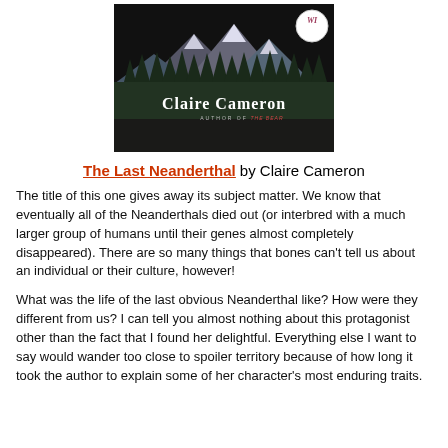[Figure (illustration): Book cover of 'The Last Neanderthal' by Claire Cameron showing a dark mountain landscape with forest, and a circular WI badge in the top right. Author name in large white bold letters, subtitle 'AUTHOR OF THE BEAR' in small text below.]
The Last Neanderthal by Claire Cameron
The title of this one gives away its subject matter. We know that eventually all of the Neanderthals died out (or interbred with a much larger group of humans until their genes almost completely disappeared). There are so many things that bones can't tell us about an individual or their culture, however!
What was the life of the last obvious Neanderthal like? How were they different from us? I can tell you almost nothing about this protagonist other than the fact that I found her delightful. Everything else I want to say would wander too close to spoiler territory because of how long it took the author to explain some of her character's most enduring traits.